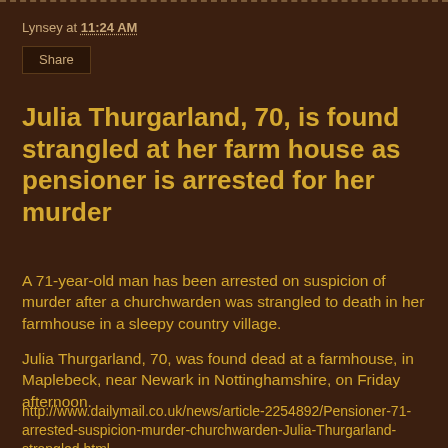Lynsey at 11:24 AM
Share
Julia Thurgarland, 70, is found strangled at her farm house as pensioner is arrested for her murder
A 71-year-old man has been arrested on suspicion of murder after a churchwarden was strangled to death in her farmhouse in a sleepy country village.
Julia Thurgarland, 70, was found dead at a farmhouse, in Maplebeck, near Newark in Nottinghamshire, on Friday afternoon.
http://www.dailymail.co.uk/news/article-2254892/Pensioner-71-arrested-suspicion-murder-churchwarden-Julia-Thurgarland-strangled.html